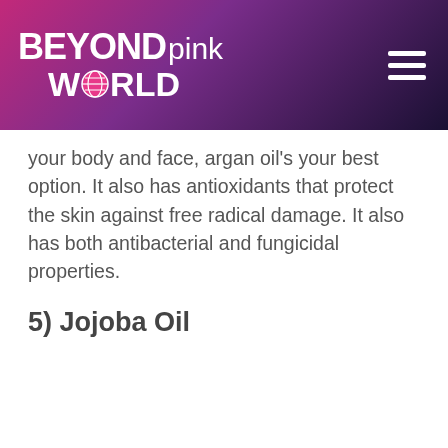BEYONDpink World
your body and face, argan oil's your best option. It also has antioxidants that protect the skin against free radical damage. It also has both antibacterial and fungicidal properties.
5) Jojoba Oil